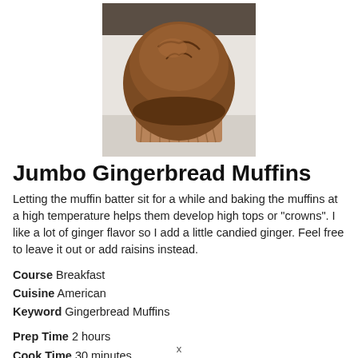[Figure (photo): A large jumbo gingerbread muffin with a high crown top, sitting in a brown paper muffin wrapper on a light surface, photographed on a white background.]
Jumbo Gingerbread Muffins
Letting the muffin batter sit for a while and baking the muffins at a high temperature helps them develop high tops or "crowns". I like a lot of ginger flavor so I add a little candied ginger. Feel free to leave it out or add raisins instead.
Course  Breakfast
Cuisine  American
Keyword  Gingerbread Muffins
Prep Time  2 hours
Cook Time  30 minutes